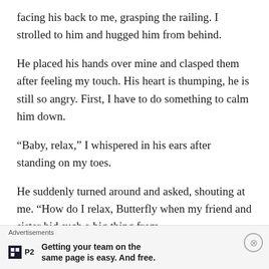facing his back to me, grasping the railing. I strolled to him and hugged him from behind.
He placed his hands over mine and clasped them after feeling my touch. His heart is thumping, he is still so angry. First, I have to do something to calm him down.
“Baby, relax,” I whispered in his ears after standing on my toes.
He suddenly turned around and asked, shouting at me. “How do I relax, Butterfly when my friend and sister hid such a big thing from
Advertisements
Getting your team on the same page is easy. And free.